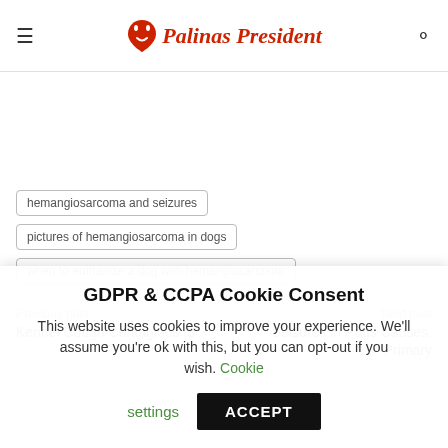Palinas President
hemangiosarcoma and seizures
pictures of hemangiosarcoma in dogs
when to euthanize a dog with hemangiosarcoma
Previous post
Kennel Cough Contagious to
Next post
Seizures in Pugs Causes, Primary
GDPR & CCPA Cookie Consent
This website uses cookies to improve your experience. We'll assume you're ok with this, but you can opt-out if you wish. Cookie settings
ACCEPT